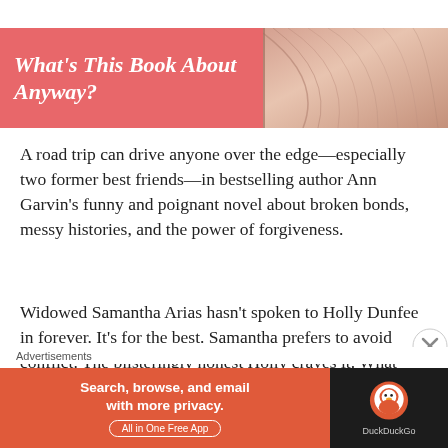[Figure (illustration): Banner header with salmon/red-pink background on left side containing the title text in white italic, and book pages photo on right side]
What's This Book About Anyway?
A road trip can drive anyone over the edge—especially two former best friends—in bestselling author Ann Garvin's funny and poignant novel about broken bonds, messy histories, and the power of forgiveness.
Widowed Samantha Arias hasn't spoken to Holly Dunfee in forever. It's for the best. Samantha prefers to avoid conflict. The blisteringly honest Holly craves it. What they still have in common puts them both back on spee
Advertisements
[Figure (screenshot): DuckDuckGo advertisement banner: orange-red left panel reading 'Search, browse, and email with more privacy. All in One Free App' and dark right panel with DuckDuckGo logo]